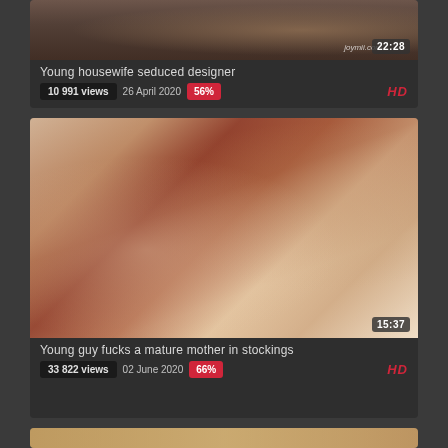[Figure (screenshot): Video thumbnail for 'Young housewife seduced designer' showing duration 22:28 and watermark joymii.com]
Young housewife seduced designer
10 991 views  26 April 2020  56%  HD
[Figure (screenshot): Video thumbnail for 'Young guy fucks a mature mother in stockings' showing duration 15:37]
Young guy fucks a mature mother in stockings
33 822 views  02 June 2020  66%  HD
[Figure (screenshot): Partial video thumbnail at bottom of page]